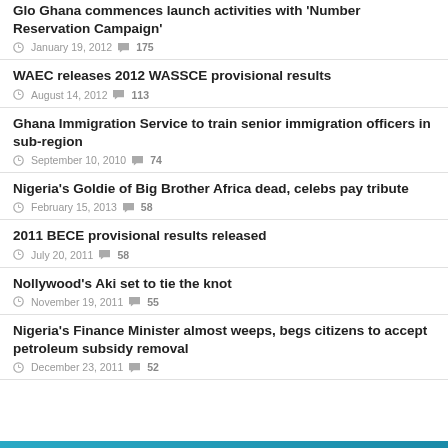Glo Ghana commences launch activities with 'Number Reservation Campaign'
January 19, 2012  175
WAEC releases 2012 WASSCE provisional results
August 14, 2012  113
Ghana Immigration Service to train senior immigration officers in sub-region
September 10, 2010  74
Nigeria's Goldie of Big Brother Africa dead, celebs pay tribute
February 15, 2013  58
2011 BECE provisional results released
July 20, 2011  58
Nollywood's Aki set to tie the knot
November 19, 2011  55
Nigeria's Finance Minister almost weeps, begs citizens to accept petroleum subsidy removal
December 23, 2011  52